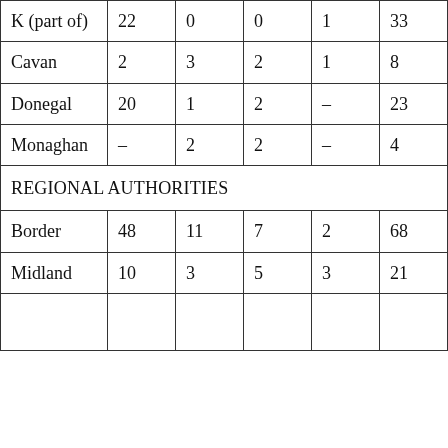| K (part of) | 22 | 0 | 0 | 1 | 33 |
| Cavan | 2 | 3 | 2 | 1 | 8 |
| Donegal | 20 | 1 | 2 | – | 23 |
| Monaghan | – | 2 | 2 | – | 4 |
| REGIONAL AUTHORITIES |  |  |  |  |  |
| Border | 48 | 11 | 7 | 2 | 68 |
| Midland | 10 | 3 | 5 | 3 | 21 |